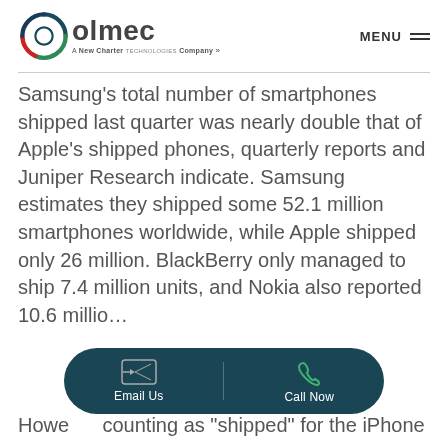[Figure (logo): Olmec logo with circular icon in green, red, and dark blue, and tagline 'A New Charter Technologies Company']
Samsung's total number of smartphones shipped last quarter was nearly double that of Apple's shipped phones, quarterly reports and Juniper Research indicate. Samsung estimates they shipped some 52.1 million smartphones worldwide, while Apple shipped only 26 million. BlackBerry only managed to ship 7.4 million units, and Nokia...
Howe... counting as "shipped" for the iPhone